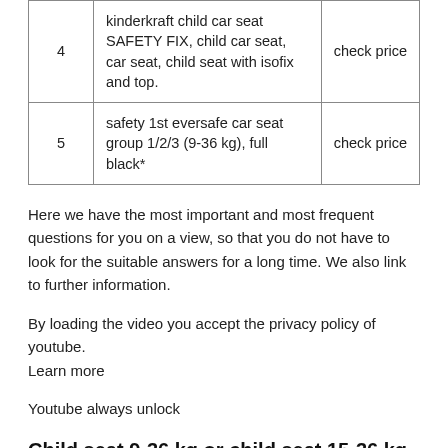|  | Product | Price |
| --- | --- | --- |
| 4 | kinderkraft child car seat SAFETY FIX, child car seat, car seat, child seat with isofix and top. | check price |
| 5 | safety 1st eversafe car seat group 1/2/3 (9-36 kg), full black* | check price |
Here we have the most important and most frequent questions for you on a view, so that you do not have to look for the suitable answers for a long time. We also link to further information.
By loading the video you accept the privacy policy of youtube.
Learn more
Youtube always unlock
Child seat 9-36 kg or child seat 15-36 kg – how to distinguish the groups?